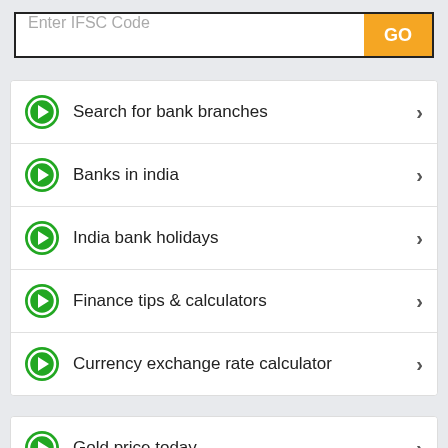[Figure (screenshot): Search input box with placeholder 'Enter IFSC Code' and orange GO button]
Search for bank branches
Banks in india
India bank holidays
Finance tips & calculators
Currency exchange rate calculator
Gold price today
Silver price today
EMI calculator